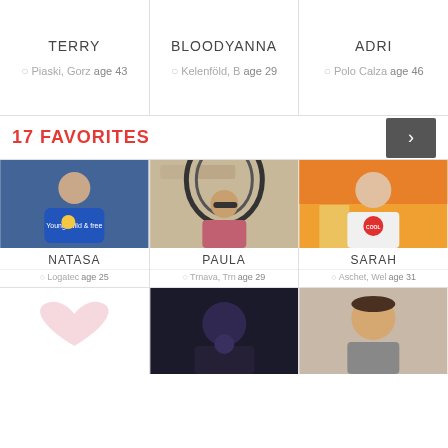TERRY  Piaski, Gorz age 43 | BLOODYANNA  Kelenföld, B age 29 | ADRI  Polo Calza age 46
17 FAVORITES
[Figure (photo): Three profile photos in a row: NATASA (Logatec, age 25), PAULA (Trnava, Trn age 29), SARAH (Aschet, Wel age 31)]
[Figure (photo): Bottom partial row of three profile photos, partially cropped at bottom of page]